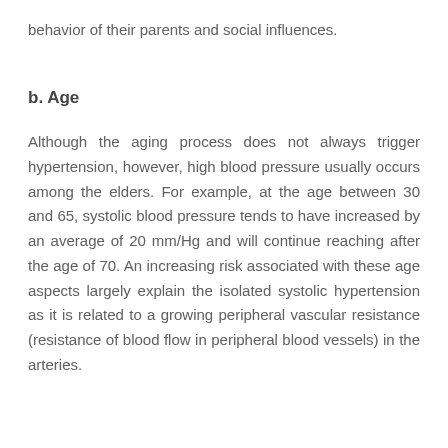behavior of their parents and social influences.
b. Age
Although the aging process does not always trigger hypertension, however, high blood pressure usually occurs among the elders. For example, at the age between 30 and 65, systolic blood pressure tends to have increased by an average of 20 mm/Hg and will continue reaching after the age of 70. An increasing risk associated with these age aspects largely explain the isolated systolic hypertension as it is related to a growing peripheral vascular resistance (resistance of blood flow in peripheral blood vessels) in the arteries.